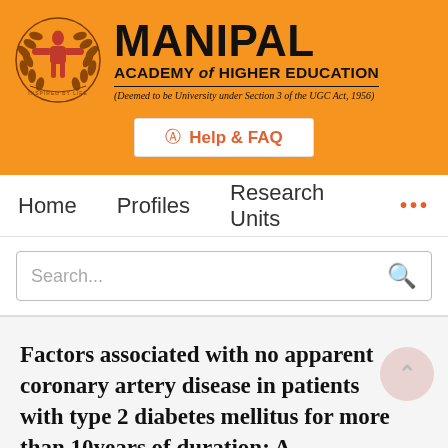[Figure (logo): Manipal Academy of Higher Education logo with orange emblem and text]
Help & FAQ
Home   Profiles   Research Units   ...
Search...
Factors associated with no apparent coronary artery disease in patients with type 2 diabetes mellitus for more than 10years of duration: A